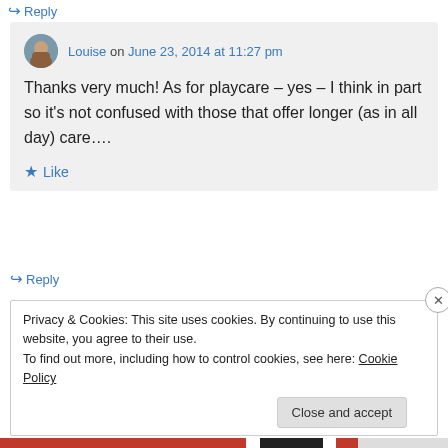↪ Reply
Louise on June 23, 2014 at 11:27 pm
Thanks very much! As for playcare – yes – I think in part so it's not confused with those that offer longer (as in all day) care….
Like
↪ Reply
Privacy & Cookies: This site uses cookies. By continuing to use this website, you agree to their use.
To find out more, including how to control cookies, see here: Cookie Policy
Close and accept